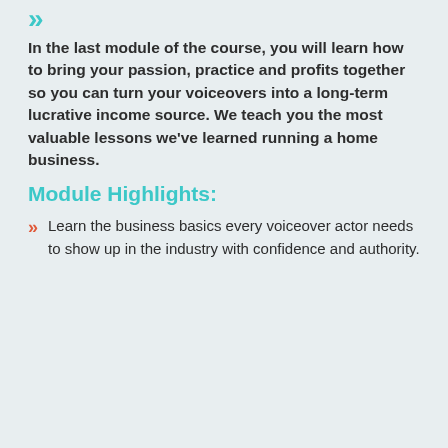In the last module of the course, you will learn how to bring your passion, practice and profits together so you can turn your voiceovers into a long-term lucrative income source. We teach you the most valuable lessons we've learned running a home business.
Module Highlights:
Learn the business basics every voiceover actor needs to show up in the industry with confidence and authority.